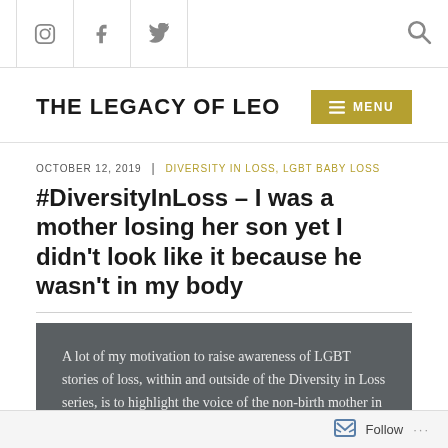THE LEGACY OF LEO — MENU
OCTOBER 12, 2019 | DIVERSITY IN LOSS, LGBT BABY LOSS
#DiversityInLoss – I was a mother losing her son yet I didn't look like it because he wasn't in my body
A lot of my motivation to raise awareness of LGBT stories of loss, within and outside of the Diversity in Loss series, is to highlight the voice of the non-birth mother in both motherhood but also in loss. If any voice in loss is not